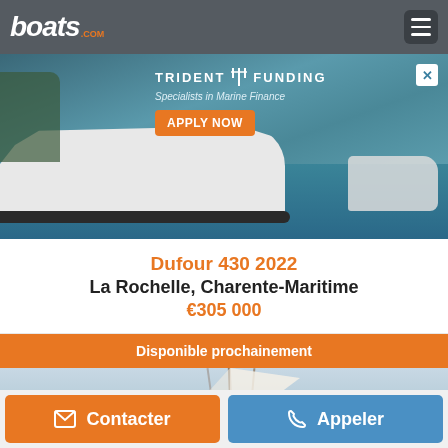boats.com
[Figure (photo): Trident Funding advertisement banner showing a sailboat on water with 'APPLY NOW' button. Text: TRIDENT FUNDING, Specialists in Marine Finance]
Dufour 430 2022
La Rochelle, Charente-Maritime
€305 000
Disponible prochainement
[Figure (photo): Partial view of a sailboat mast and sail against a light sky]
Contacter
Appeler